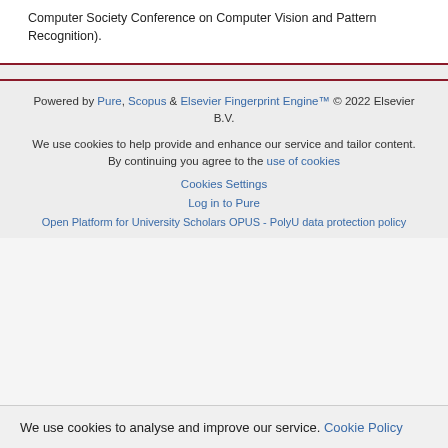Computer Society Conference on Computer Vision and Pattern Recognition).
Powered by Pure, Scopus & Elsevier Fingerprint Engine™ © 2022 Elsevier B.V.
We use cookies to help provide and enhance our service and tailor content. By continuing you agree to the use of cookies
Cookies Settings
Log in to Pure
Open Platform for University Scholars OPUS - PolyU data protection policy
We use cookies to analyse and improve our service. Cookie Policy